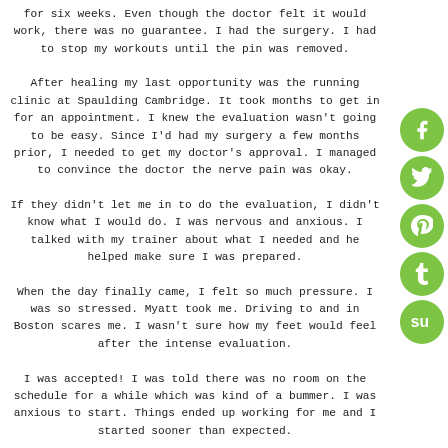for six weeks. Even though the doctor felt it would work, there was no guarantee. I had the surgery. I had to stop my workouts until the pin was removed. After healing my last opportunity was the running clinic at Spaulding Cambridge. It took months to get in for an appointment. I knew the evaluation wasn't going to be easy. Since I'd had my surgery a few months prior, I needed to get my doctor's approval. I managed to convince the doctor the nerve pain was okay. If they didn't let me in to do the evaluation, I didn't know what I would do. I was nervous and anxious. I talked with my trainer about what I needed and he helped make sure I was prepared. When the day finally came, I felt so much pressure. I was so stressed. Myatt took me. Driving to and in Boston scares me. I wasn't sure how my feet would feel after the intense evaluation. I was accepted! I was told there was no room on the schedule for a while which was kind of a bummer. I was anxious to start. Things ended up working for me and I started sooner than expected. The next part was tough. I needed to be in Boston for PT 2-3 days a week. I knew Myatt wasn't going to be able to drive me. It was time once again to do what I needed. I was scared. I'm not a native of Massachusetts, and their drivers are very aggressive. No offense to anyone. But, if you don't know where you're going, the
[Figure (infographic): Five green circular social media icons on the right side: Facebook (f), Twitter (bird), Pinterest (P), Tumblr (t), StumbleUpon (su)]